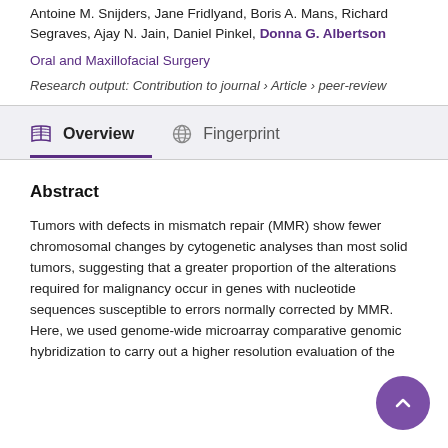Antoine M. Snijders, Jane Fridlyand, Boris A. Mans, Richard Segraves, Ajay N. Jain, Daniel Pinkel, Donna G. Albertson
Oral and Maxillofacial Surgery
Research output: Contribution to journal › Article › peer-review
Abstract
Tumors with defects in mismatch repair (MMR) show fewer chromosomal changes by cytogenetic analyses than most solid tumors, suggesting that a greater proportion of the alterations required for malignancy occur in genes with nucleotide sequences susceptible to errors normally corrected by MMR. Here, we used genome-wide microarray comparative genomic hybridization to carry out a higher resolution evaluation of the